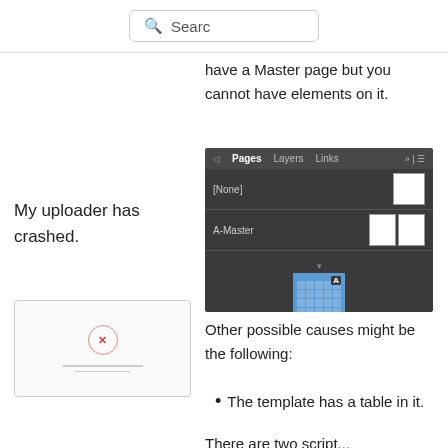Search
have a Master page but you cannot have elements on it.
[Figure (screenshot): InDesign Pages panel showing [None] and A-Master pages, with page 1 displayed in the panel area.]
My uploader has crashed.
[Figure (screenshot): Error image box showing a red circle with an X and two horizontal lines below it.]
Other possible causes might be the following:
The template has a table in it.
There are two script...